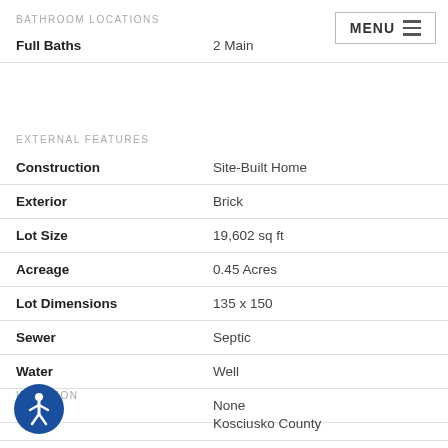BATHROOM LOCATIONS
|  |  |
| --- | --- |
| Full Baths | 2 Main |
EXTERNAL FEATURES
|  |  |
| --- | --- |
| Construction | Site-Built Home |
| Exterior | Brick |
| Lot Size | 19,602 sq ft |
| Acreage | 0.45 Acres |
| Lot Dimensions | 135 x 150 |
| Sewer | Septic |
| Water | Well |
| Fence | None |
LOCATION
|  |  |
| --- | --- |
|  | Kosciusko County |
| County | Kosciusko |
[Figure (illustration): Blue circular accessibility icon with a white human figure]